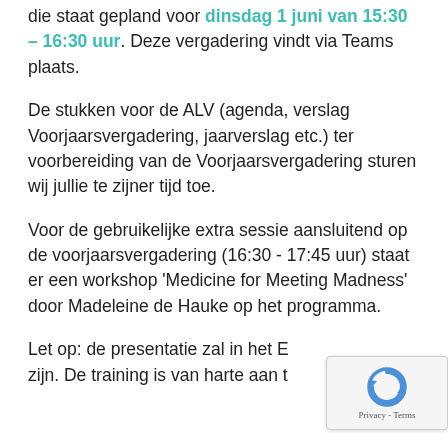die staat gepland voor dinsdag 1 juni van 15:30 – 16:30 uur. Deze vergadering vindt via Teams plaats.
De stukken voor de ALV (agenda, verslag Voorjaarsvergadering, jaarverslag etc.) ter voorbereiding van de Voorjaarsvergadering sturen wij jullie te zijner tijd toe.
Voor de gebruikelijke extra sessie aansluitend op de voorjaarsvergadering (16:30 - 17:45 uur) staat er een workshop 'Medicine for Meeting Madness' door Madeleine de Hauke op het programma.
Let op: de presentatie zal in het E zijn. De training is van harte aan t